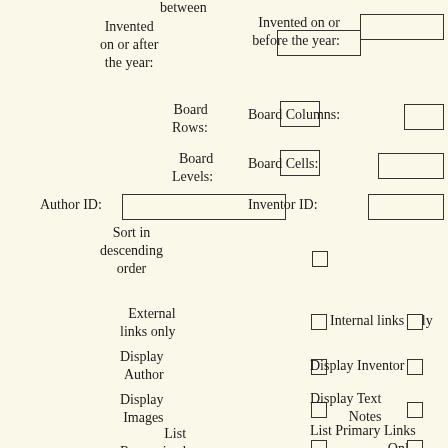between
Invented on or after the year:
Invented on or before the year:
Board Rows:
Board Columns:
Board Levels:
Board Cells:
Author ID:
Inventor ID:
Sort in descending order
External links only
Internal links only
Display Author
Display Inventor
Display Images
Display Text Notes
List Recognized Items Only
List Primary Links Only